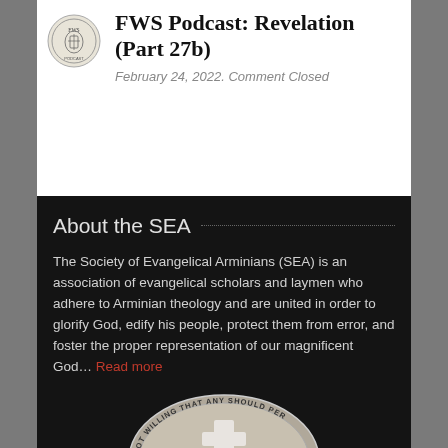[Figure (logo): Circular logo/seal for FWS organization]
FWS Podcast: Revelation (Part 27b)
February 24, 2022. Comment Closed
About the SEA
The Society of Evangelical Arminians (SEA) is an association of evangelical scholars and laymen who adhere to Arminian theology and are united in order to glorify God, edify his people, protect them from error, and foster the proper representation of our magnificent God... Read more
[Figure (photo): Partial circular medal/coin showing a cross and text reading 'NOT WILLING THAT ANY SHOULD PER...']